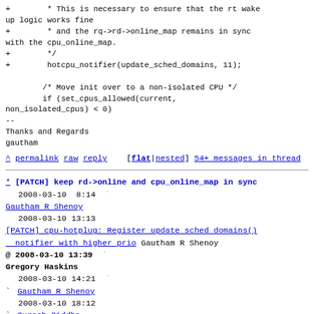+        * This is necessary to ensure that the rt wake up logic works fine
+        * and the rq->rd->online_map remains in sync with the cpu_online_map.
+        */
+        hotcpu_notifier(update_sched_domains, 11);

        /* Move init over to a non-isolated CPU */
        if (set_cpus_allowed(current,
non_isolated_cpus) < 0)
--
Thanks and Regards
gautham
^ permalink raw reply   [flat|nested] 54+ messages in thread
* [PATCH] keep rd->online and cpu_online_map in sync
  2008-03-10  8:14
Gautham R Shenoy
  2008-03-10 13:13
[PATCH] cpu-hotplug: Register update sched domains() notifier with higher prio Gautham R Shenoy
@ 2008-03-10 13:39
Gregory Haskins
  2008-03-10 14:21
Gautham R Shenoy
  2008-03-10 18:12
Suresh Siddha